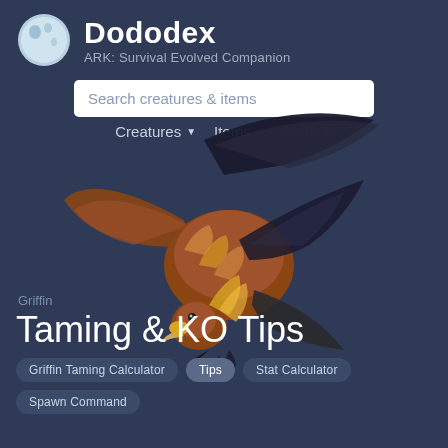Dododex — ARK: Survival Evolved Companion
Search creatures & items
Creatures ▼   Items ▼   More ▼
[Figure (illustration): A Griffin creature from ARK: Survival Evolved, shown in flight with brown and dark feathers, wings spread wide.]
Griffin
Taming & KO Tips
Griffin Taming Calculator   Tips   Stat Calculator   Spawn Command